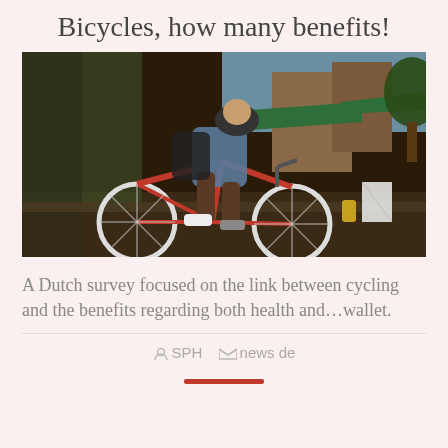Bicycles, how many benefits!
[Figure (photo): A person riding a red bicycle on a city street, wearing a helmet and backpack, with shops and trees in the background.]
A Dutch survey focused on the link between cycling and the benefits regarding both health and…wallet.
SPH   news de
[Figure (other): Red horizontal bar/button at bottom center]